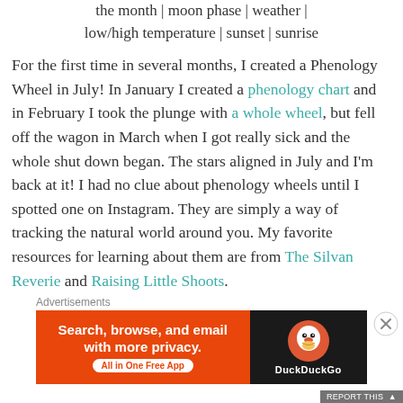the month | moon phase | weather | low/high temperature | sunset | sunrise
For the first time in several months, I created a Phenology Wheel in July! In January I created a phenology chart and in February I took the plunge with a whole wheel, but fell off the wagon in March when I got really sick and the whole shut down began. The stars aligned in July and I’m back at it! I had no clue about phenology wheels until I spotted one on Instagram. They are simply a way of tracking the natural world around you. My favorite resources for learning about them are from The Silvan Reverie and Raising Little Shoots.
Advertisements
[Figure (screenshot): DuckDuckGo advertisement banner: orange left panel with 'Search, browse, and email with more privacy. All in One Free App' and dark right panel with DuckDuckGo duck logo and 'DuckDuckGo' text.]